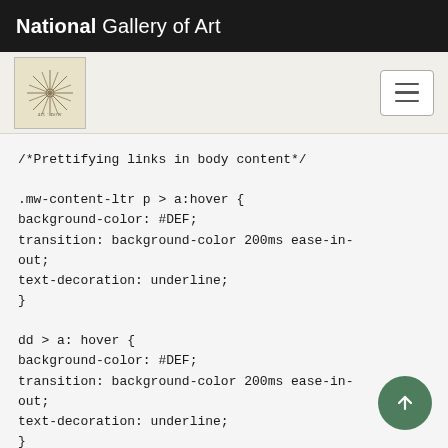National Gallery of Art
[Figure (screenshot): Sub-header with artwork thumbnail and hamburger menu icon on light beige background]
/*Prettifying links in body content*/

.mw-content-ltr p > a:hover {
background-color: #DEF;
transition: background-color 200ms ease-in-out;
text-decoration: underline;
}

dd > a: hover {
background-color: #DEF;
transition: background-color 200ms ease-in-out;
text-decoration: underline;
}